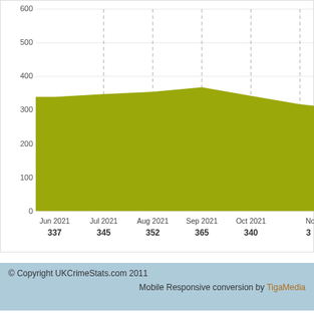[Figure (area-chart): Crime counts by month]
© Copyright UKCrimeStats.com 2011  Mobile Responsive conversion by TigaMedia